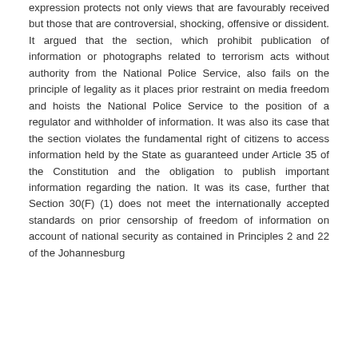expression protects not only views that are favourably received but those that are controversial, shocking, offensive or dissident. It argued that the section, which prohibit publication of information or photographs related to terrorism acts without authority from the National Police Service, also fails on the principle of legality as it places prior restraint on media freedom and hoists the National Police Service to the position of a regulator and withholder of information. It was also its case that the section violates the fundamental right of citizens to access information held by the State as guaranteed under Article 35 of the Constitution and the obligation to publish important information regarding the nation. It was its case, further that Section 30(F) (1) does not meet the internationally accepted standards on prior censorship of freedom of information on account of national security as contained in Principles 2 and 22 of the Johannesburg